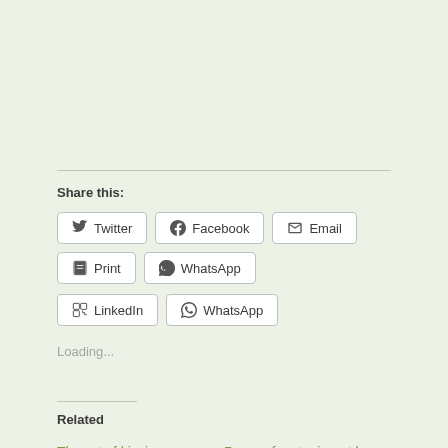Share this:
Twitter | Facebook | Email | Print | LinkedIn | WhatsApp
Loading...
Related
The art of kissing
November 5, 2014
In "Chile"
Poems for staying at home (Day 28)
May 27, 2020